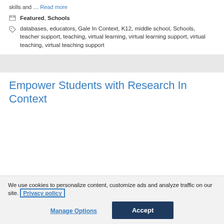skills and … Read more
Featured, Schools
databases, educators, Gale In Context, K12, middle school, Schools, teacher support, teaching, virtual learning, virtual learning support, virtual teaching, virtual teaching support
Empower Students with Research In Context
We use cookies to personalize content, customize ads and analyze traffic on our site. Privacy policy
Manage Options
Accept